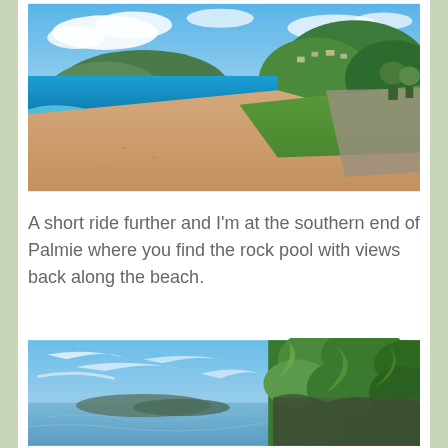[Figure (photo): A beach scene showing turquoise ocean waves, pink sandy beach, green grassy embankment with a path, and tree-covered hillside with houses in the background under a blue sky with clouds.]
A short ride further and I'm at the southern end of Palmie where you find the rock pool with views back along the beach.
[Figure (photo): A coastal scene showing calm blue water, a low headland in the distance, blue sky with wispy clouds on the left, and dense green lush trees and vegetation on the right side.]